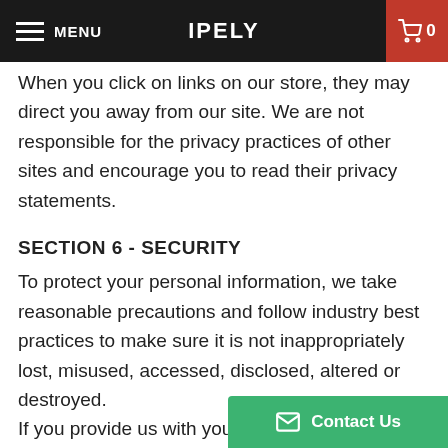MENU  IPELY  0
When you click on links on our store, they may direct you away from our site. We are not responsible for the privacy practices of other sites and encourage you to read their privacy statements.
SECTION 6 - SECURITY
To protect your personal information, we take reasonable precautions and follow industry best practices to make sure it is not inappropriately lost, misused, accessed, disclosed, altered or destroyed. If you provide us with your credit card information, the information is encrypted using secure socket layer technology (SSL) and stored with a AES-256 encr... Although no method of transmi...